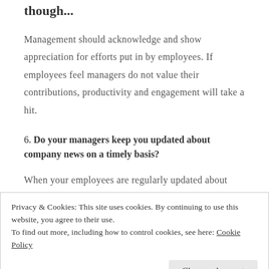though...
Management should acknowledge and show appreciation for efforts put in by employees. If employees feel managers do not value their contributions, productivity and engagement will take a hit.
6. Do your managers keep you updated about company news on a timely basis?
When your employees are regularly updated about
Privacy & Cookies: This site uses cookies. By continuing to use this website, you agree to their use.
To find out more, including how to control cookies, see here: Cookie Policy
Effective ways to keep your employees happy